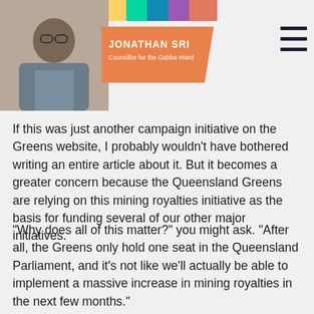[Figure (photo): Jonathan Sri profile header with photo of smiling man with glasses, orange name badge reading 'JONATHAN SRI Councillor for the Gabba Ward', floral decorative bar at top, and hamburger menu icon at top right]
If this was just another campaign initiative on the Greens website, I probably wouldn't have bothered writing an entire article about it. But it becomes a greater concern because the Queensland Greens are relying on this mining royalties initiative as the basis for funding several of our other major initiatives.
“Why does all of this matter?” you might ask. “After all, the Greens only hold one seat in the Queensland Parliament, and it’s not like we’ll actually be able to implement a massive increase in mining royalties in the next few months.”